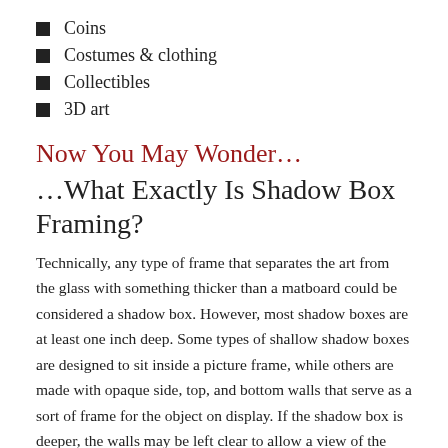Coins
Costumes & clothing
Collectibles
3D art
Now You May Wonder…
…What Exactly Is Shadow Box Framing?
Technically, any type of frame that separates the art from the glass with something thicker than a matboard could be considered a shadow box. However, most shadow boxes are at least one inch deep. Some types of shallow shadow boxes are designed to sit inside a picture frame, while others are made with opaque side, top, and bottom walls that serve as a sort of frame for the object on display. If the shadow box is deeper, the walls may be left clear to allow a view of the object from multiple angles. In either case, you can choose to